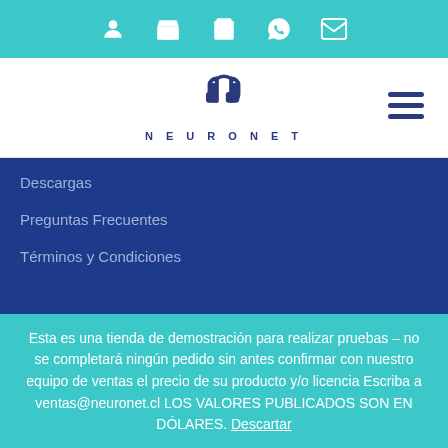[Figure (screenshot): Top navigation icon bar with teal background showing user, store, cart, WhatsApp, and email icons in white]
[Figure (logo): Neuronet logo: stylized DB symbol in dark blue with NEURONET text below, on white background with hamburger menu icon on right]
Descargas
Preguntas Frecuentes
Términos y Condiciones
TIENDA
Hardware
• Access Point
Esta es una tienda de demostración para realizar pruebas – no se completará ningún pedido sin antes confirmar con nuestro equipo de ventas el precio de su producto y/o licencia Escriba a ventas@neuronet.cl LOS VALORES PUBLICADOS SON EN DÓLARES. Descartar